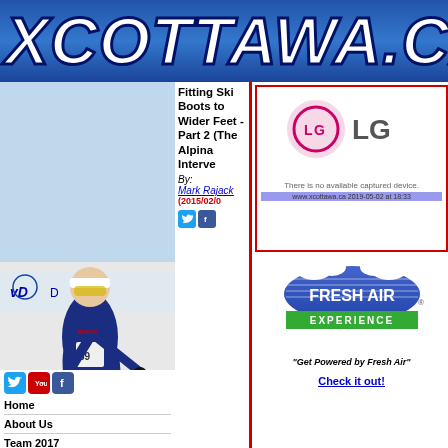XCOTTAWA.CA
[Figure (photo): Cross-country skier wearing blue suit and number 59, racing with poles on a snowy course]
Fitting Ski Boots to Wider Feet - Part 2 (The Alpina Interve
By:
Mark Rajack
(2015/02/0
[Figure (logo): LG logo with pink circle and text 'LG'. Below: 'There is no available captured device.' with URL bar showing www.xcottawa.ca 2019-05-02 at 18:33]
[Figure (logo): Fresh Air Experience logo - blue dome/sun graphic with green banner reading EXPERIENCE]
"Get Powered by Fresh Air"
Check it out!
Home
About Us
Team 2017